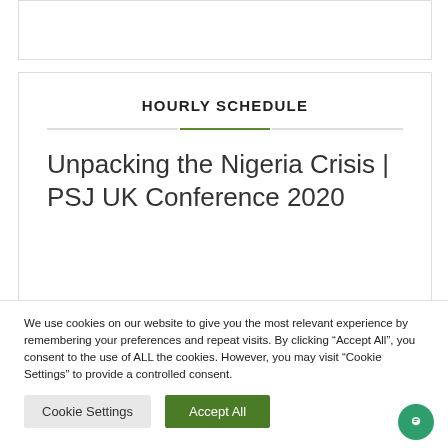[Figure (screenshot): Partial card at top of page, cropped]
HOURLY SCHEDULE
Unpacking the Nigeria Crisis | PSJ UK Conference 2020
We use cookies on our website to give you the most relevant experience by remembering your preferences and repeat visits. By clicking “Accept All”, you consent to the use of ALL the cookies. However, you may visit “Cookie Settings” to provide a controlled consent.